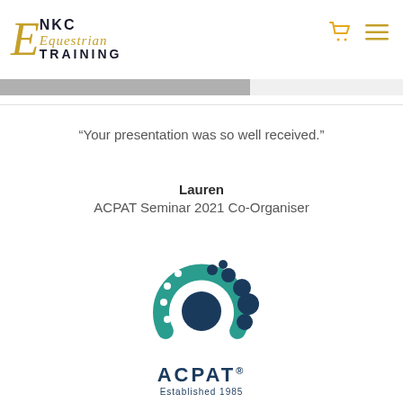[Figure (logo): NKC Equestrian Training logo with stylized E and gold/dark text]
“Your presentation was so well received.”
Lauren
ACPAT Seminar 2021 Co-Organiser
[Figure (logo): ACPAT logo with teal horseshoe/footprint graphic, dark blue text reading ACPAT with registered trademark, and subtitle Established 1985]